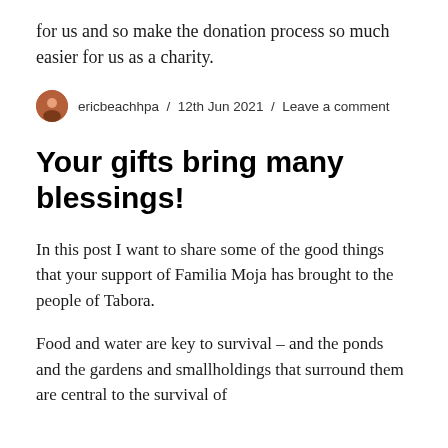for us and so make the donation process so much easier for us as a charity.
ericbeachhpa / 12th Jun 2021 / Leave a comment
Your gifts bring many blessings!
In this post I want to share some of the good things that your support of Familia Moja has brought to the people of Tabora.
Food and water are key to survival – and the ponds and the gardens and smallholdings that surround them are central to the survival of